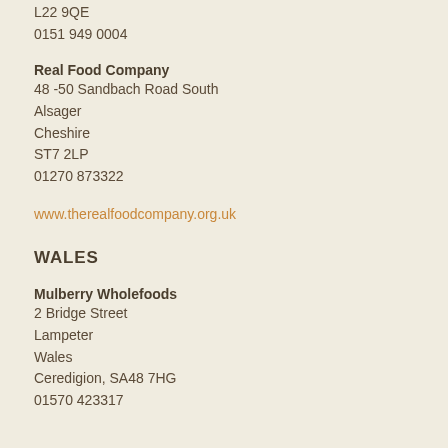L22 9QE
0151 949 0004
Real Food Company
48 -50 Sandbach Road South
Alsager
Cheshire
ST7 2LP
01270 873322
www.therealfoodcompany.org.uk
WALES
Mulberry Wholefoods
2 Bridge Street
Lampeter
Wales
Ceredigion, SA48 7HG
01570 423317